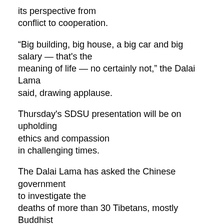its perspective from conflict to cooperation.
“Big building, big house, a big car and big salary — that’s the meaning of life — no certainly not,” the Dalai Lama said, drawing applause.
Thursday’s SDSU presentation will be on upholding ethics and compassion in challenging times.
The Dalai Lama has asked the Chinese government to investigate the deaths of more than 30 Tibetans, mostly Buddhist monks and nuns, who have set themselves on fire over the past year.